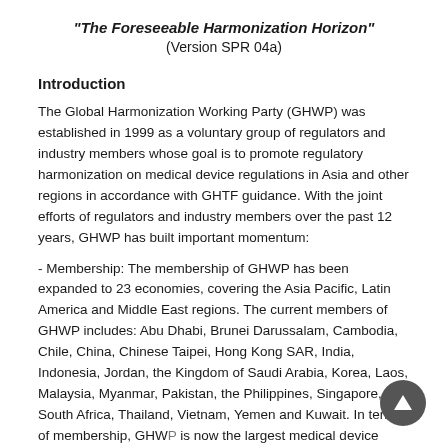"The Foreseeable Harmonization Horizon" (Version SPR 04a)
Introduction
The Global Harmonization Working Party (GHWP) was established in 1999 as a voluntary group of regulators and industry members whose goal is to promote regulatory harmonization on medical device regulations in Asia and other regions in accordance with GHTF guidance. With the joint efforts of regulators and industry members over the past 12 years, GHWP has built important momentum:
- Membership: The membership of GHWP has been expanded to 23 economies, covering the Asia Pacific, Latin America and Middle East regions. The current members of GHWP includes: Abu Dhabi, Brunei Darussalam, Cambodia, Chile, China, Chinese Taipei, Hong Kong SAR, India, Indonesia, Jordan, the Kingdom of Saudi Arabia, Korea, Laos, Malaysia, Myanmar, Pakistan, the Philippines, Singapore, South Africa, Thailand, Vietnam, Yemen and Kuwait. In terms of membership, GHWP is now the largest medical device regulatory harmonization